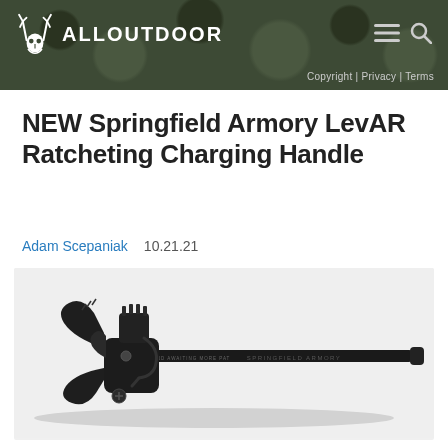ALLOUTDOOR | Copyright | Privacy | Terms
NEW Springfield Armory LevAR Ratcheting Charging Handle
Adam Scepaniak   10.21.21
[Figure (photo): Springfield Armory LevAR Ratcheting Charging Handle product photo on light gray background — black metal charging handle with ratcheting mechanism on left side and long rod extending to the right with 'SPRINGFIELD ARMORY' text engraved on it]